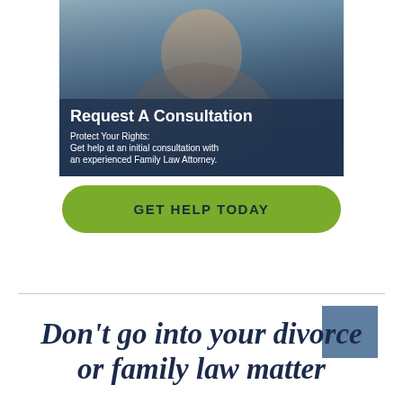[Figure (photo): Woman looking thoughtfully upward with her hand near her chin, over a dark blue overlay with consultation text]
Request A Consultation
Protect Your Rights: Get help at an initial consultation with an experienced Family Law Attorney.
GET HELP TODAY
Don't go into your divorce or family law matter